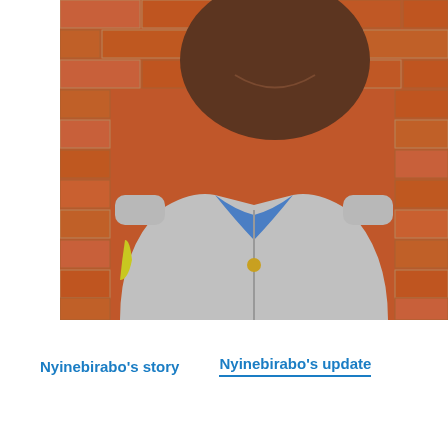[Figure (photo): Close-up photo of a smiling African woman wearing a grey zip-up hoodie with blue inner shirt, standing against an orange-red brick wall.]
Nyinebirabo's story    Nyinebirabo's update